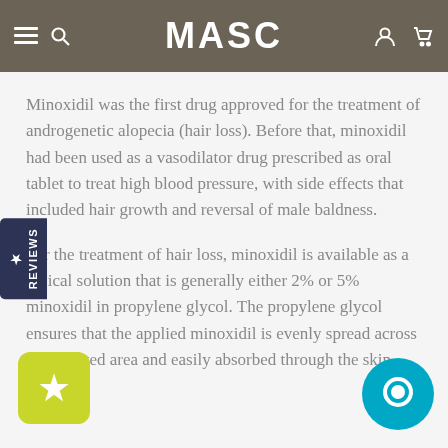MASC
Minoxidil was the first drug approved for the treatment of androgenetic alopecia (hair loss). Before that, minoxidil had been used as a vasodilator drug prescribed as oral tablet to treat high blood pressure, with side effects that included hair growth and reversal of male baldness.
For the treatment of hair loss, minoxidil is available as a topical solution that is generally either 2% or 5% minoxidil in propylene glycol. The propylene glycol ensures that the applied minoxidil is evenly spread across the affected area and easily absorbed through the skin.